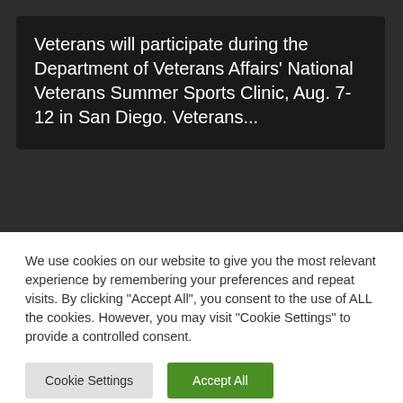Veterans will participate during the Department of Veterans Affairs' National Veterans Summer Sports Clinic, Aug. 7-12 in San Diego. Veterans...
We use cookies on our website to give you the most relevant experience by remembering your preferences and repeat visits. By clicking "Accept All", you consent to the use of ALL the cookies. However, you may visit "Cookie Settings" to provide a controlled consent.